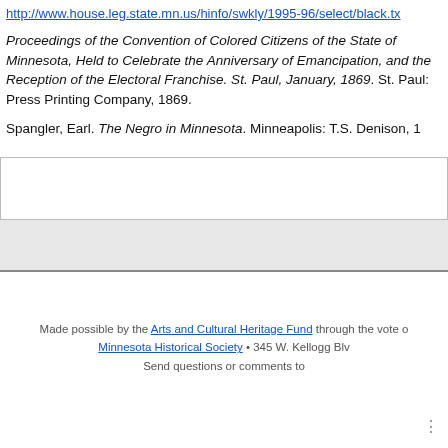http://www.house.leg.state.mn.us/hinfo/swkly/1995-96/select/black.tx
Proceedings of the Convention of Colored Citizens of the State of Minnesota, Held to Celebrate the Anniversary of Emancipation, and the Reception of the Electoral Franchise. St. Paul, January, 1869. St. Paul: Press Printing Company, 1869.
Spangler, Earl. The Negro in Minnesota. Minneapolis: T.S. Denison, 1...
Made possible by the Arts and Cultural Heritage Fund through the vote of Minnesotans on November 4, 2008. Administered by the Minnesota Historical Society • 345 W. Kellogg Blvd., St. Paul, MN 55102 • 651-296-6126. Send questions or comments to [email].